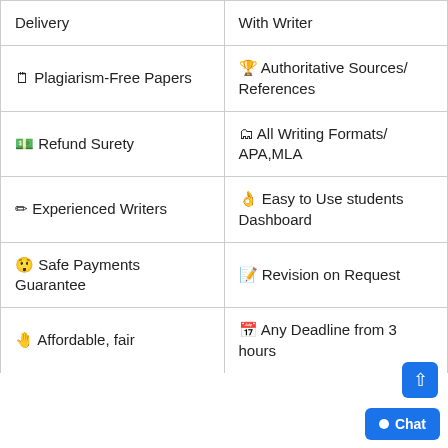| Delivery | With Writer |
| 🗒 Plagiarism-Free Papers | 🏆 Authoritative Sources/ References |
| 💵 Refund Surety | 🗂 All Writing Formats/ APA,MLA |
| ✏ Experienced Writers | 👌 Easy to Use students Dashboard |
| 😲 Safe Payments Guarantee | 📝 Revision on Request |
| 🤚 Affordable, fair | 📅 Any Deadline from 3 hours |